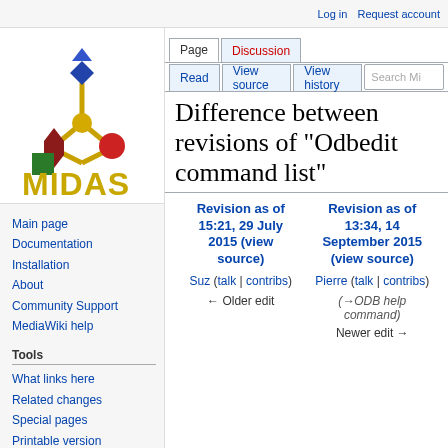Log in  Request account
[Figure (logo): MIDAS wiki logo with molecular structure graphic and MIDAS text in gold/yellow]
Main page
Documentation
Installation
About
Community Support
MediaWiki help
Tools
What links here
Related changes
Special pages
Printable version
Permanent link
Page information
Difference between revisions of "Odbedit command list"
| Revision as of 15:21, 29 July 2015 (view source) | Revision as of 13:34, 14 September 2015 (view source) |
| --- | --- |
| Suz (talk | contribs) | Pierre (talk | contribs) |
| ← Older edit | (→ODB help command)
Newer edit → |